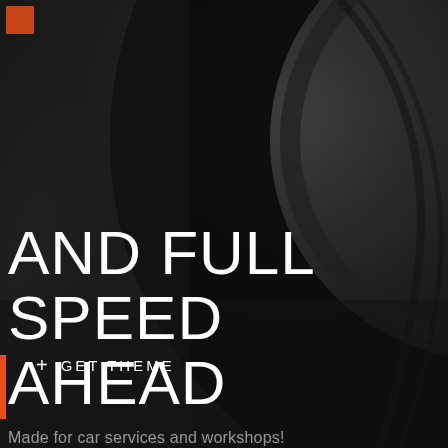[Figure (photo): Dark automotive background with a large tire/wheel arc visible on the right side, dark charcoal gradient background]
AND FULL SPEED AHEAD
Made for car services and workshops!
+ GET THEME